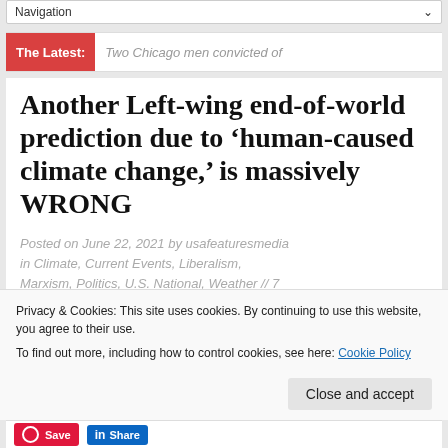Navigation
The Latest: Two Chicago men convicted of
Another Left-wing end-of-world prediction due to ‘human-caused climate change,’ is massively WRONG
Posted on June 22, 2021 by usafeaturesmedia in Climate, Current Events, Liberalism, Marxism, Politics, U.S. National, Weather // 7
Privacy & Cookies: This site uses cookies. By continuing to use this website, you agree to their use.
To find out more, including how to control cookies, see here: Cookie Policy
Close and accept
Save  Share